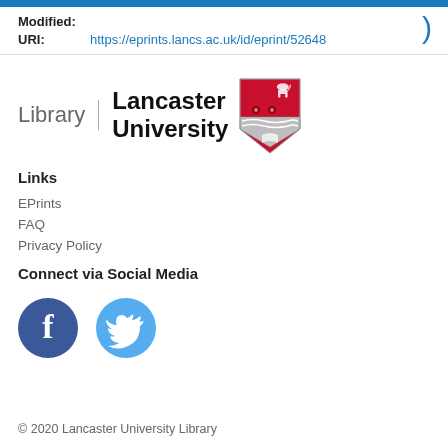Modified:
URI: https://eprints.lancs.ac.uk/id/eprint/52648
[Figure (logo): Lancaster University Library logo with crest/shield]
Links
EPrints
FAQ
Privacy Policy
Connect via Social Media
[Figure (illustration): Facebook and Twitter social media icon circles]
© 2020 Lancaster University Library